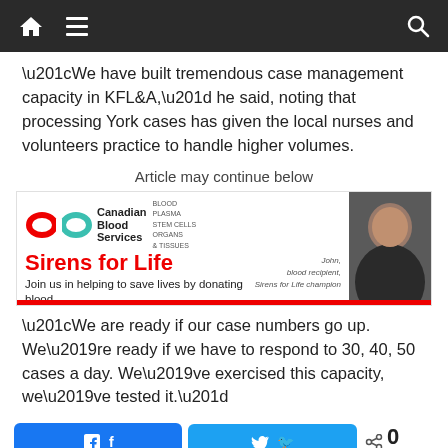Navigation bar with home, menu, and search icons
“We have built tremendous case management capacity in KFL&A,” he said, noting that processing York cases has given the local nurses and volunteers practice to handle higher volumes.
Article may continue below
[Figure (infographic): Canadian Blood Services advertisement for Sirens for Life. Shows infinity logo in red and teal, text: Canadian Blood Services BLOOD PLASMA STEM CELLS ORGANS & TISSUES. Large red text: Sirens for Life. Subtext: Join us in helping to save lives by donating blood. Photo of John, blood recipient, Sirens for Life champion on right side. Red bar at bottom.]
“We are ready if our case numbers go up. We’re ready if we have to respond to 30, 40, 50 cases a day. We’ve exercised this capacity, we’ve tested it.”
Share buttons: Facebook, Twitter, 0 SHARES